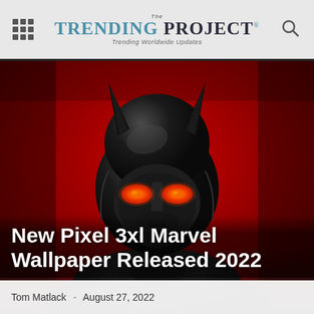The TRENDING PROJECT® - Trending Worldwide Updates
[Figure (photo): Batman-like superhero figure wearing dark helmet with glowing red eyes, against a vivid red background. The figure is facing forward wearing dark armor. Large bold white text overlay at bottom reads 'New Pixel 3xl Marvel Wallpaper Released 2022'.]
New Pixel 3xl Marvel Wallpaper Released 2022
Tom Matlack  -  August 27, 2022